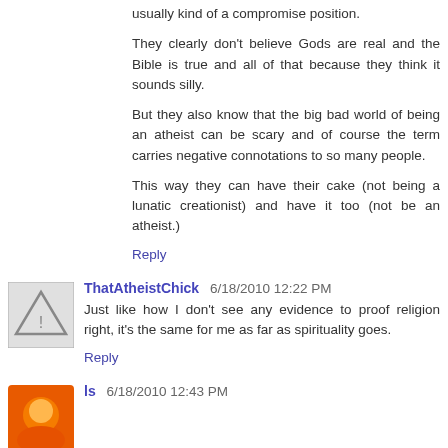usually kind of a compromise position.
They clearly don't believe Gods are real and the Bible is true and all of that because they think it sounds silly.
But they also know that the big bad world of being an atheist can be scary and of course the term carries negative connotations to so many people.
This way they can have their cake (not being a lunatic creationist) and have it too (not be an atheist.)
Reply
ThatAtheistChick 6/18/2010 12:22 PM
Just like how I don't see any evidence to proof religion right, it's the same for me as far as spirituality goes.
Reply
ls 6/18/2010 12:43 PM